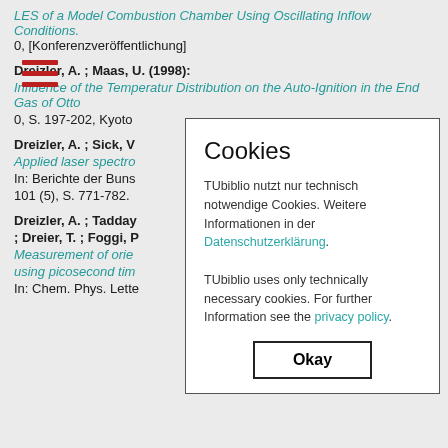LES of a Model Combustion Chamber Using Oscillating Inflow Conditions.
0, [Konferenzveröffentlichung]
Dreizler, A. ; Maas, U. (1998):
Influence of the Temperatur Distribution on the Auto-Ignition in the End Gas of Otto
0, S. 197-202, Kyoto
Dreizler, A. ; Sick, V
Applied laser spectro
In: Berichte der Buns
101 (5), S. 771-782.
Dreizler, A. ; Tadday
; Dreier, T. ; Foggi, P
Measurement of orie
using picosecond tim
In: Chem. Phys. Lette
[Figure (other): Cookie consent dialog overlay with title 'Cookies', body text about TUbiblio cookies in German and English with links to Datenschutzerklärung and privacy policy, and an Okay button.]